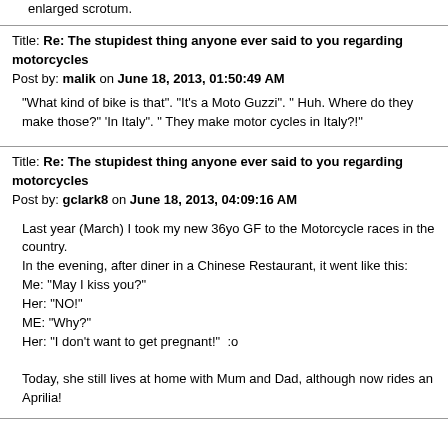enlarged scrotum.
Title: Re: The stupidest thing anyone ever said to you regarding motorcycles
Post by: malik on June 18, 2013, 01:50:49 AM
"What kind of bike is that". "It's a Moto Guzzi". " Huh. Where do they make those?" 'In Italy". " They make motor cycles in Italy?!"
Title: Re: The stupidest thing anyone ever said to you regarding motorcycles
Post by: gclark8 on June 18, 2013, 04:09:16 AM
Last year (March) I took my new 36yo GF to the Motorcycle races in the country.
In the evening, after diner in a Chinese Restaurant, it went like this:
Me: "May I kiss you?"
Her: "NO!"
ME: "Why?"
Her: "I don't want to get pregnant!"  :o

Today, she still lives at home with Mum and Dad, although now rides an Aprilia!